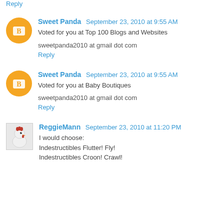Reply
Sweet Panda  September 23, 2010 at 9:55 AM
Voted for you at Top 100 Blogs and Websites
sweetpanda2010 at gmail dot com
Reply
Sweet Panda  September 23, 2010 at 9:55 AM
Voted for you at Baby Boutiques
sweetpanda2010 at gmail dot com
Reply
ReggieMann  September 23, 2010 at 11:20 PM
I would choose:
Indestructibles Flutter! Fly!
Indestructibles Croon! Crawl!